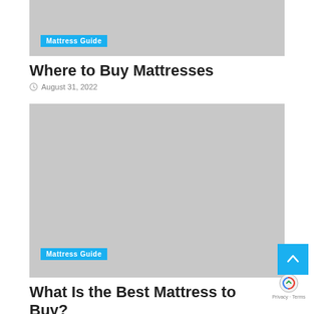[Figure (photo): Gray placeholder image at top of page]
Mattress Guide
Where to Buy Mattresses
August 31, 2022
[Figure (photo): Large gray placeholder image in the center of the page]
Mattress Guide
What Is the Best Mattress to Buy?